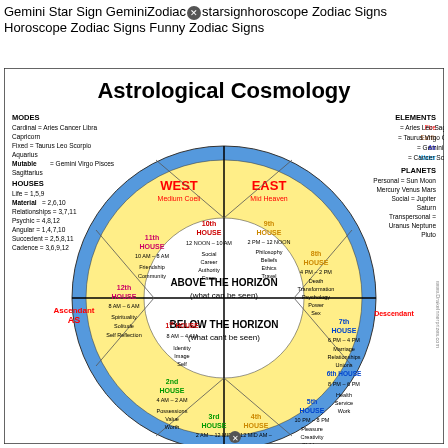Gemini Star Sign GeminiZodiacstarsignhoroscope Zodiac Signs Horoscope Zodiac Signs Funny Zodiac Signs
[Figure (infographic): Astrological Cosmology wheel diagram showing 12 houses, modes, elements, planets, with WEST/EAST, Above/Below Horizon labels, and color-coded sections.]